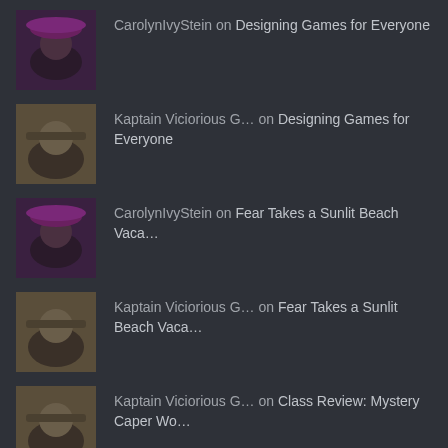CarolynIvyStein on Designing Games for Everyone
Kaptain Viciorious G… on Designing Games for Everyone
CarolynIvyStein on Fear Takes a Sunlit Beach Vaca…
Kaptain Viciorious G… on Fear Takes a Sunlit Beach Vaca…
Kaptain Viciorious G… on Class Review: Mystery Caper Wo…
ARCHIVES
August 2022
July 2022